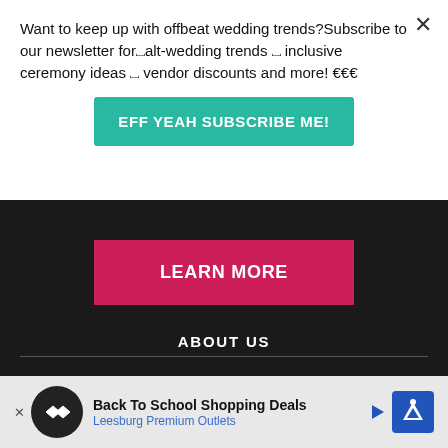Want to keep up with offbeat wedding trends?Subscribe to our newsletter for alt-wedding trends ✦ inclusive ceremony ideas ✦ vendor discounts and more! 🎉🎉🎉
EFF YEAH SUBSCRIBE ME!
LEARN MORE
ABOUT US
Offbeat Bride (soon to be OFFBEAT WED) launched in December 2006 supporting the release of Seattle autho... We now ...olks
Back To School Shopping Deals
Leesburg Premium Outlets